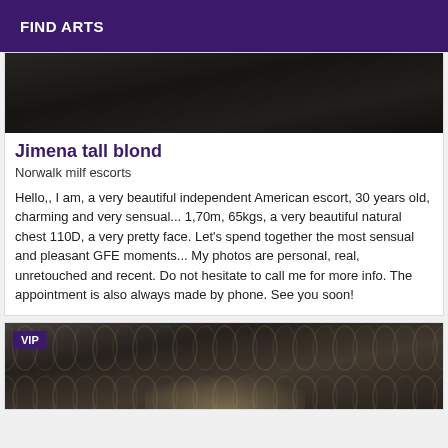FIND ARTS
[Figure (photo): Dark background photo at top of listing card]
Jimena tall blond
Norwalk milf escorts
Hello,, I am, a very beautiful independent American escort, 30 years old, charming and very sensual... 1,70m, 65kgs, a very beautiful natural chest 110D, a very pretty face. Let's spend together the most sensual and pleasant GFE moments... My photos are personal, real, unretouched and recent. Do not hesitate to call me for more info. The appointment is also always made by phone. See you soon!
[Figure (photo): Photo with VIP badge, decorative patterned background, partial figure visible at bottom]